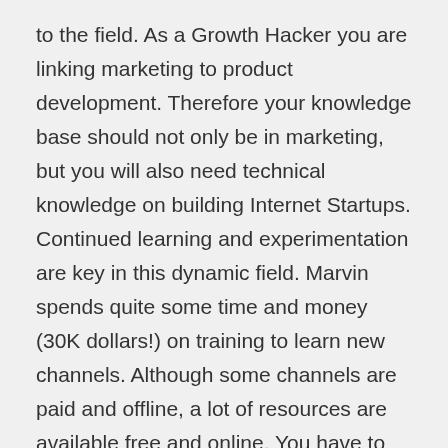to the field. As a Growth Hacker you are linking marketing to product development. Therefore your knowledge base should not only be in marketing, but you will also need technical knowledge on building Internet Startups. Continued learning and experimentation are key in this dynamic field. Marvin spends quite some time and money (30K dollars!) on training to learn new channels. Although some channels are paid and offline, a lot of resources are available free and online. You have to be absolutely passionate about the field to become an excellent Growth Hacker, since it will cost blood, sweat, and tears to keep up with the rapid developments in the field. The good thing is that as a skilled Growth Hacker you will have great value for every Startup. That is why we at Squads are happy to have some very good Growth Hackers on board to help our customers and our